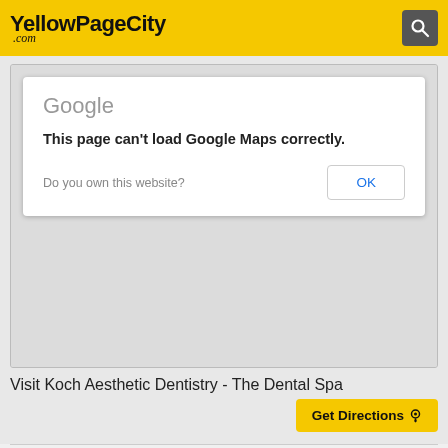YellowPageCity.com
[Figure (screenshot): Google Maps error dialog reading 'This page can't load Google Maps correctly.' with 'Do you own this website?' question and OK button, overlaid on a gray map background]
Visit Koch Aesthetic Dentistry - The Dental Spa
Get Directions